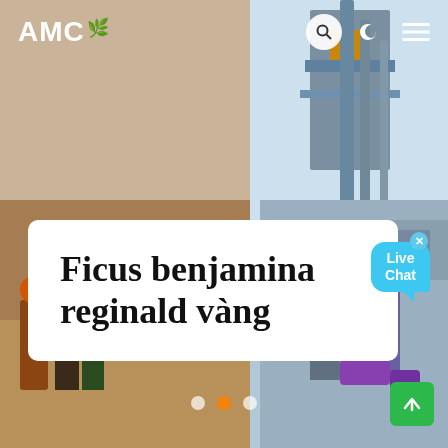[Figure (photo): Background photo of industrial construction site. Left half shows workers in hard hats and safety gear on sandy ground. Right half shows industrial equipment/machinery (conveyor or processing structure) against a light blue sky.]
AMC
Ficus benjamina reginald vàng
[Figure (infographic): Live Chat speech bubble widget with cyan/blue color. Shows 'Live Chat' text with a close X button in upper right.]